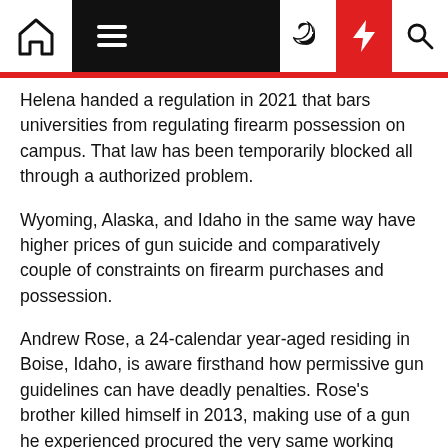[Navigation bar with home, menu, dark mode, bolt, search icons]
Helena handed a regulation in 2021 that bars universities from regulating firearm possession on campus. That law has been temporarily blocked all through a authorized problem.
Wyoming, Alaska, and Idaho in the same way have higher prices of gun suicide and comparatively couple of constraints on firearm purchases and possession.
Andrew Rose, a 24-calendar year-aged residing in Boise, Idaho, is aware firsthand how permissive gun guidelines can have deadly penalties. Rose's brother killed himself in 2013, making use of a gun he experienced procured the very same working day.
Rose describes his brother's suicide as "a minute of disaster," a person that could possibly have passed if